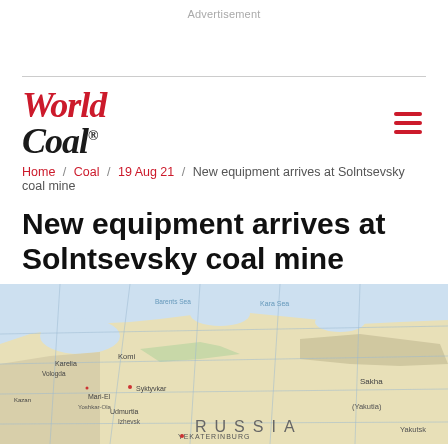Advertisement
[Figure (map): Map of Russia showing geographic regions including Karelia, Komi, Udmurtia, Mari-El, Sakha, with cities like Syktyvkar, Yekaterinburg and the label RUSSIA]
Home / Coal / 19 Aug 21 / New equipment arrives at Solntsevsky coal mine
New equipment arrives at Solntsevsky coal mine